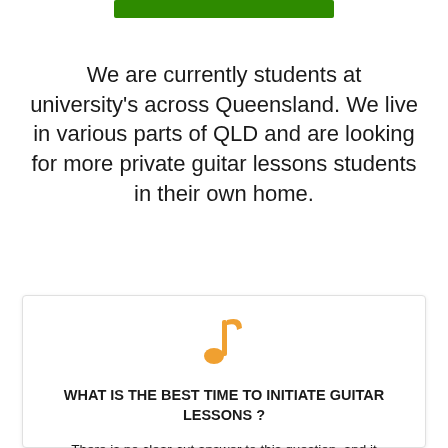[Figure (other): Green horizontal bar/button at top center of page]
We are currently students at university's across Queensland. We live in various parts of QLD and are looking for more private guitar lessons students in their own home.
[Figure (other): Orange musical note icon]
WHAT IS THE BEST TIME TO INITIATE GUITAR LESSONS ?
There is no clear-cut answer to this question, and it